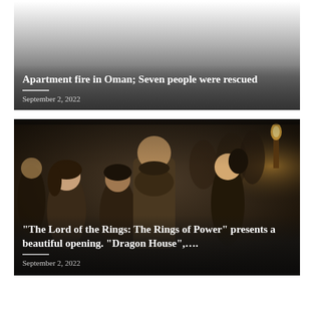[Figure (photo): News article card with gradient gray background (top white fading to dark gray). Overlaid white bold text headline and date.]
Apartment fire in Oman; Seven people were rescued
September 2, 2022
[Figure (photo): Movie still from 'The Lord of the Rings: The Rings of Power' showing a group of characters in fantasy medieval attire looking upward in a dimly lit scene. Dark overlay at bottom with white bold text headline and date.]
“The Lord of the Rings: The Rings of Power” presents a beautiful opening. “Dragon House”,....
September 2, 2022